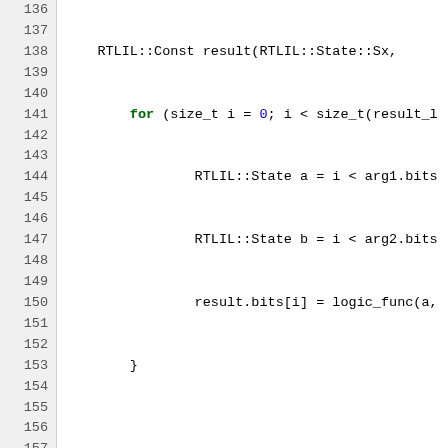[Figure (screenshot): Source code listing showing C++ RTLIL functions: lines 136-166, including for loop, logic_wrapper calls for const_and, const_or, const_xor, const_xnor, and start of logic_reduce_wrapper function.]